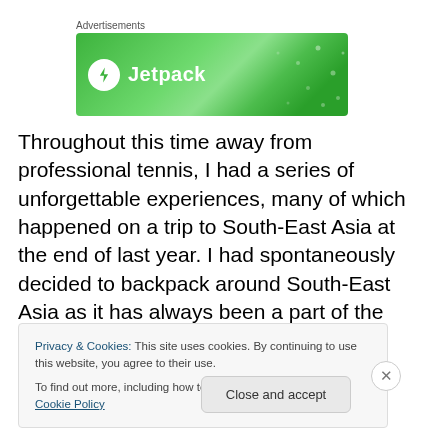[Figure (logo): Jetpack advertisement banner with green gradient background showing Jetpack logo (lightning bolt in circle) and text 'Jetpack']
Throughout this time away from professional tennis, I had a series of unforgettable experiences, many of which happened on a trip to South-East Asia at the end of last year. I had spontaneously decided to backpack around South-East Asia as it has always been a part of the world
Privacy & Cookies: This site uses cookies. By continuing to use this website, you agree to their use.
To find out more, including how to control cookies, see here: Cookie Policy
Close and accept